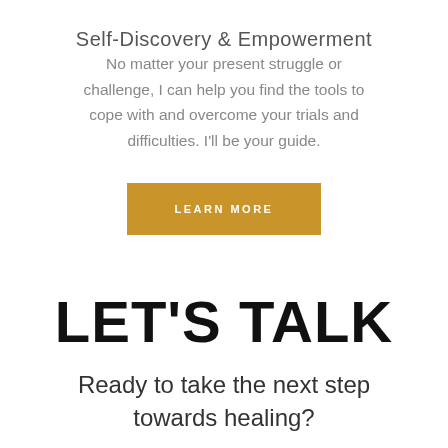Self-Discovery & Empowerment
No matter your present struggle or challenge, I can help you find the tools to cope with and overcome your trials and difficulties. I'll be your guide.
LEARN MORE
LET'S TALK
Ready to take the next step towards healing?